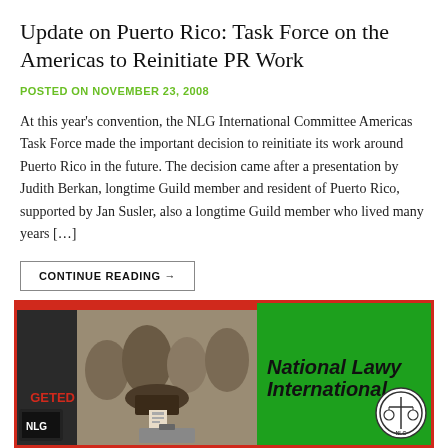Update on Puerto Rico: Task Force on the Americas to Reinitiate PR Work
POSTED ON NOVEMBER 23, 2008
At this year's convention, the NLG International Committee Americas Task Force made the important decision to reinitiate its work around Puerto Rico in the future. The decision came after a presentation by Judith Berkan, longtime Guild member and resident of Puerto Rico, supported by Jan Susler, also a longtime Guild member who lived many years […]
CONTINUE READING →
[Figure (photo): Left side shows a crowd scene with people voting/ballot box, with a red bar overlay and partially visible text 'GETED' and NLG badge. Right side shows a green background with 'National Lawyers International' text and NLG logo circle.]